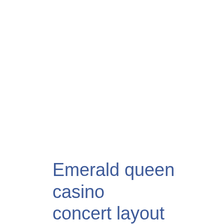Emerald queen casino concert layout